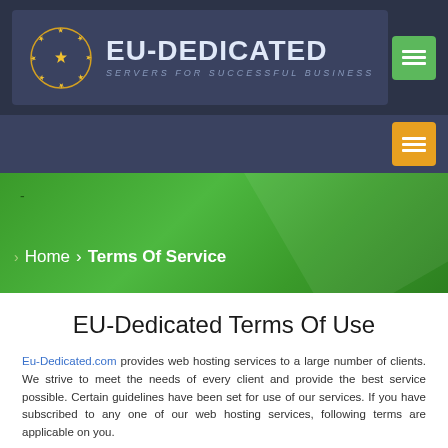[Figure (logo): EU-Dedicated logo with golden star circle emblem and text 'EU-DEDICATED - SERVERS FOR SUCCESSFUL BUSINESS' on dark navy background]
Home > Terms Of Service
EU-Dedicated Terms Of Use
Eu-Dedicated.com provides web hosting services to a large number of clients. We strive to meet the needs of every client and provide the best service possible. Certain guidelines have been set for use of our services. If you have subscribed to any one of our web hosting services, following terms are applicable on you.